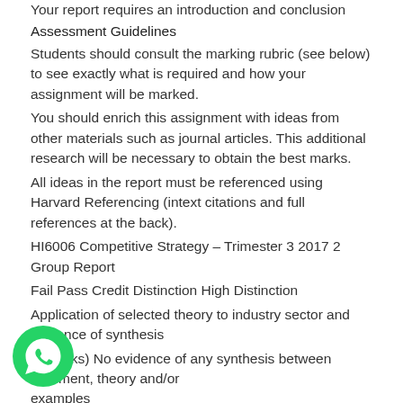Your report requires an introduction and conclusion
Assessment Guidelines
Students should consult the marking rubric (see below) to see exactly what is required and how your assignment will be marked.
You should enrich this assignment with ideas from other materials such as journal articles. This additional research will be necessary to obtain the best marks.
All ideas in the report must be referenced using Harvard Referencing (intext citations and full references at the back).
HI6006 Competitive Strategy – Trimester 3 2017 2 Group Report
Fail Pass Credit Distinction High Distinction
Application of selected theory to industry sector and evidence of synthesis
(8 marks) No evidence of any synthesis between argument, theory and/or examples
Limited evidence of synthesis between argument, theory and/or examples
[Figure (logo): WhatsApp green phone icon logo]